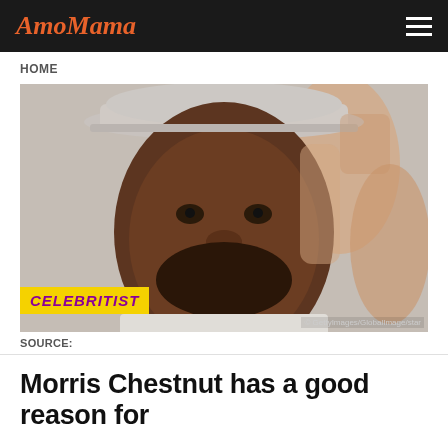AmoMama
HOME
[Figure (photo): Close-up photo of Morris Chestnut wearing a light grey wide-brim hat, with a beard and slight smile, against a blurred background. Yellow badge overlay at bottom left reads 'CELEBRITIST' in purple italic text. Photo credit: © GettyImages/Globalimage/star]
SOURCE:
Morris Chestnut has a good reason for